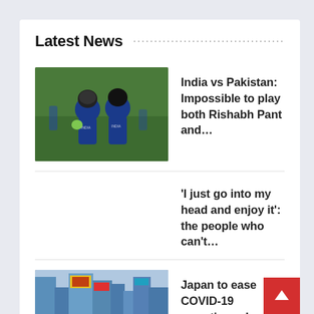Latest News
[Figure (photo): Two cricket players in blue India team uniforms on a green field]
India vs Pakistan: Impossible to play both Rishabh Pant and…
'I just go into my head and enjoy it': the people who can't…
[Figure (photo): Busy city street crossing in Japan with large crowd of pedestrians and tall buildings with billboards]
Japan to ease COVID-19 reporting rules Nationwide:…
Five ways to save money on DIY jobs | Home improvements